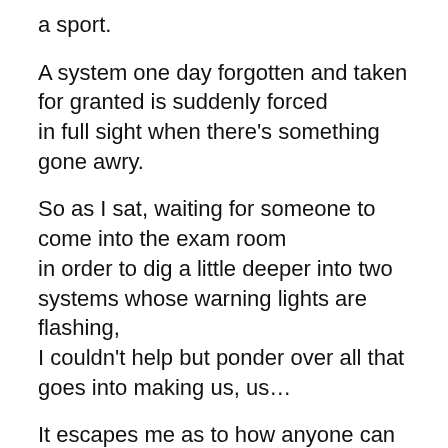a sport.
A system one day forgotten and taken for granted is suddenly forced
in full sight when there's something gone awry.
So as I sat, waiting for someone to come into the exam room
in order to dig a little deeper into two systems whose warning lights are flashing,
I couldn't help but ponder over all that goes into making us, us…
It escapes me as to how anyone can look at these interwoven systems and networks,
coursing in, out and around our bodies, and not see the hand of God...
You just can't tell me all of these systems, with their